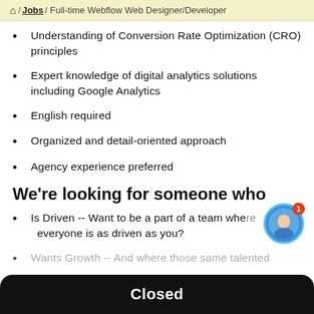⌂ / Jobs / Full-time Webflow Web Designer/Developer
Understanding of Conversion Rate Optimization (CRO) principles
Expert knowledge of digital analytics solutions including Google Analytics
English required
Organized and detail-oriented approach
Agency experience preferred
We're looking for someone who
Is Driven -- Want to be a part of a team where everyone is as driven as you?
Wants Growth -- And where those same talented
Closed